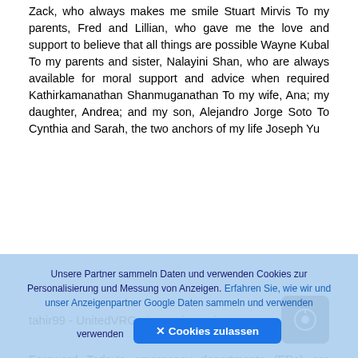Zack, who always makes me smile Stuart Mirvis To my parents, Fred and Lillian, who gave me the love and support to believe that all things are possible Wayne Kubal To my parents and sister, Nalayini Shan, who are always available for moral support and advice when required Kathirkamanathan Shanmuganathan To my wife, Ana; my daughter, Andrea; and my son, Alejandro Jorge Soto To Cynthia and Sarah, the two anchors of my life Joseph Yu
tahir99 - UnitedVRG vip.persianss.ir
Foreword Today's emergency departments (EDs) are emergency diagnostic centers. Of the 130
Unsere Partner sammeln Daten und verwenden Cookies zur Personalisierung und Messung von Anzeigen. Erfahren Sie, wie wir und unser Anzeigenpartner Google Daten sammeln und verwenden
✕ Cookies zulassen